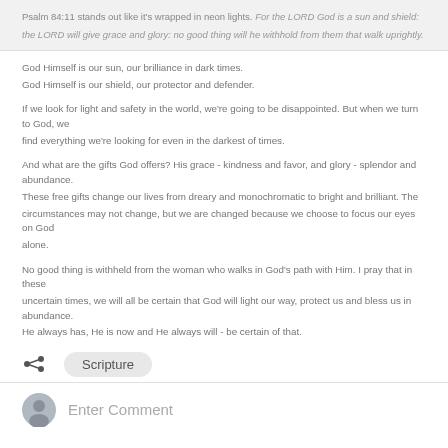Psalm 84:11 stands out like it's wrapped in neon lights. For the LORD God is a sun and shield: the LORD will give grace and glory: no good thing will he withhold from them that walk uprightly.
God Himself is our sun, our brilliance in dark times.
God Himself is our shield, our protector and defender.
If we look for light and safety in the world, we're going to be disappointed. But when we turn to God, we find everything we're looking for even in the darkest of times.
And what are the gifts God offers? His grace - kindness and favor, and glory - splendor and abundance. These free gifts change our lives from dreary and monochromatic to bright and brilliant. The circumstances may not change, but we are changed because we choose to focus our eyes on God alone.
No good thing is withheld from the woman who walks in God's path with Him. I pray that in these uncertain times, we will all be certain that God will light our way, protect us and bless us in abundance. He always has, He is now and He always will - be certain of that.
Scripture
Enter Comment